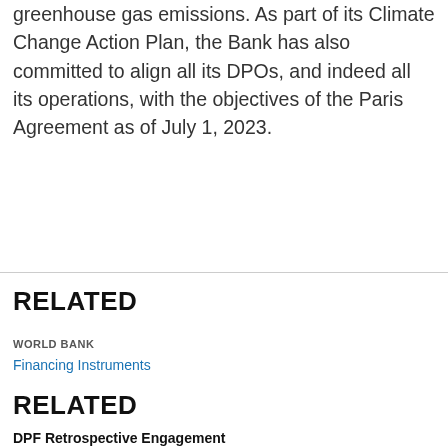greenhouse gas emissions. As part of its Climate Change Action Plan, the Bank has also committed to align all its DPOs, and indeed all its operations, with the objectives of the Paris Agreement as of July 1, 2023.
RELATED
WORLD BANK
Financing Instruments
RELATED
DPF Retrospective Engagement